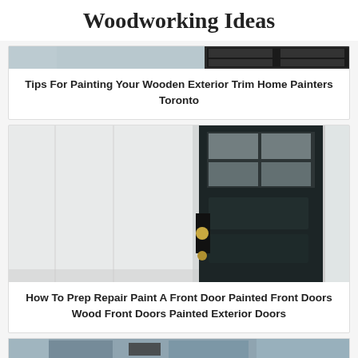Woodworking Ideas
[Figure (photo): Partial top portion of a woodworking/painting related photo, cropped]
Tips For Painting Your Wooden Exterior Trim Home Painters Toronto
[Figure (photo): Photo of a dark painted front door with glass panels and brass door knob, partially open, showing interior wall]
How To Prep Repair Paint A Front Door Painted Front Doors Wood Front Doors Painted Exterior Doors
[Figure (photo): Partial bottom strip of another photo, cropped at page bottom]